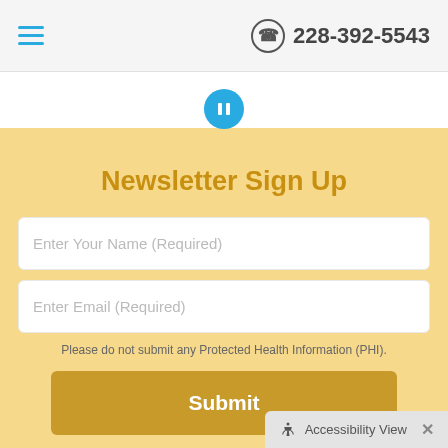228-392-5543
[Figure (other): Pause button — a blue circle with two vertical white bars]
Newsletter Sign Up
Enter Your Name (Required)
Enter Email (Required)
Please do not submit any Protected Health Information (PHI).
Submit
Accessibility View